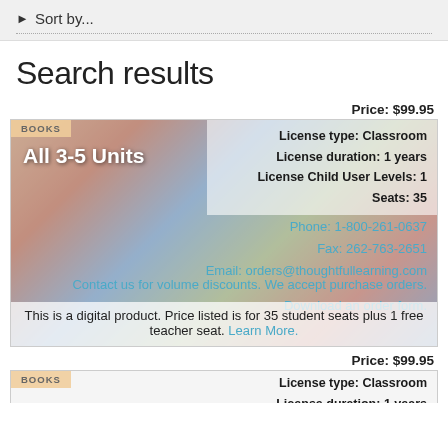► Sort by...
Search results
Price: $99.95
[Figure (illustration): Product card for 'All 3-5 Units' book with colorful artwork background, showing license details, contact info, and pricing]
Price: $99.95
[Figure (illustration): Second product card beginning to appear at bottom, showing Books badge and license info]